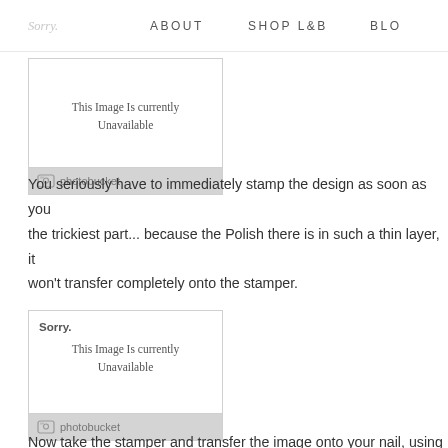Sorry.   ABOUT   SHOP L&B   BLO
[Figure (screenshot): Photobucket placeholder image box showing 'This Image Is Currently Unavailable' with photobucket logo footer]
You seriously have to immediately stamp the design as soon as you the trickiest part... because the Polish there is in such a thin layer, it won't transfer completely onto the stamper.
[Figure (screenshot): Photobucket placeholder image box showing 'Sorry. This Image Is Currently Unavailable' with photobucket logo footer]
Now take the stamper and transfer the image onto your nail, using a on my cousin shellie's hand another time... because I only have two h
[Figure (screenshot): Partially visible photobucket placeholder image box at bottom of page]